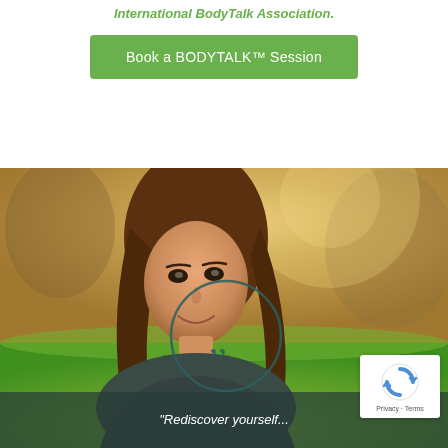International BodyTalk Association.
Book a BODYTALK™ Session
[Figure (photo): Young woman smiling and looking upward in a sunny outdoor setting with green grass and blurred trees in background. A teal circle with quotation mark icon overlaid in the center.]
"Rediscover yourself..."